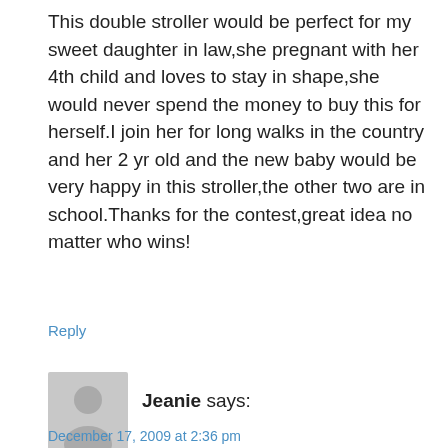This double stroller would be perfect for my sweet daughter in law,she pregnant with her 4th child and loves to stay in shape,she would never spend the money to buy this for herself.I join her for long walks in the country and her 2 yr old and the new baby would be very happy in this stroller,the other two are in school.Thanks for the contest,great idea no matter who wins!
Reply
[Figure (illustration): Generic grey user avatar icon]
Jeanie says:
December 17, 2009 at 2:36 pm
This stroller would be perfect for my sister. She has two toddlers and wants to start going on walks